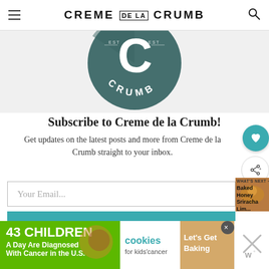CREME DE LA CRUMB
[Figure (logo): Creme de la Crumb circular logo — dark teal/green circle with large white C and text CRUMB arched at bottom]
Subscribe to Creme de la Crumb!
Get updates on the latest posts and more from Creme de la Crumb straight to your inbox.
Your Email...
SUBSCRIBE
[Figure (photo): Thumbnail image of Baked Honey Sriracha Lim... food item]
WHAT'S NEXT → Baked Honey Sriracha Lim...
[Figure (infographic): 43 CHILDREN A Day Are Diagnosed With Cancer in the U.S. — cookies for kids cancer — Let's Get Baking advertisement banner]